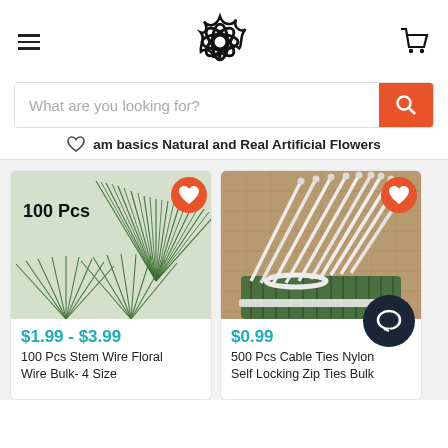Navigation header with hamburger menu, flower logo, and cart icon
What are you looking for?
am basics Natural and Real Artificial Flowers
[Figure (photo): Product card: 100 Pcs green stem wire floral wire bulk, fan-shaped arrangement, price $1.99 - $3.99]
$1.99 - $3.99
100 Pcs Stem Wire Floral Wire Bulk- 4 Size
[Figure (photo): Product card: 500 Pcs white cable ties nylon self locking zip ties bulk on burlap background, price $0.99]
$0.99
500 Pcs Cable Ties Nylon Self Locking Zip Ties Bulk